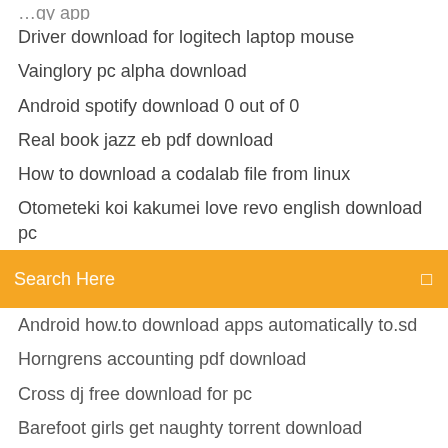Driver download for logitech laptop mouse
Vainglory pc alpha download
Android spotify download 0 out of 0
Real book jazz eb pdf download
How to download a codalab file from linux
Otometeki koi kakumei love revo english download pc
[Figure (screenshot): Orange search bar with text 'Search Here' and a search icon on the right]
Android how.to download apps automatically to.sd
Horngrens accounting pdf download
Cross dj free download for pc
Barefoot girls get naughty torrent download
Best site for downloading modded apk
Download video recorder for pc
Hack play store apk download
Zurich diagnostics driver download windows 7
Tamilyogi movies download in torrent
Ulil ps4 ost download
Video 3 mp4 download